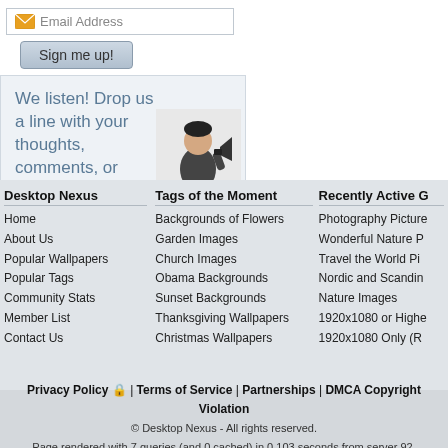[Figure (screenshot): Email address input field with envelope icon and placeholder text 'Email Address']
[Figure (screenshot): Gray gradient 'Sign me up!' button]
We listen! Drop us a line with your thoughts, comments, or feedback!
[Figure (illustration): Black and white illustration of a man in suit speaking into a megaphone]
❤ Support This Site
Desktop Nexus
Home
About Us
Popular Wallpapers
Popular Tags
Community Stats
Member List
Contact Us
Tags of the Moment
Backgrounds of Flowers
Garden Images
Church Images
Obama Backgrounds
Sunset Backgrounds
Thanksgiving Wallpapers
Christmas Wallpapers
Recently Active G…
Photography Picture…
Wonderful Nature P…
Travel the World Pi…
Nordic and Scandin…
Nature Images
1920x1080 or Highe…
1920x1080 Only (R…
Privacy Policy 🔒 | Terms of Service | Partnerships | DMCA Copyright Violation
© Desktop Nexus - All rights reserved.
Page rendered with 7 queries (and 0 cached) in 0.103 seconds from server 92.